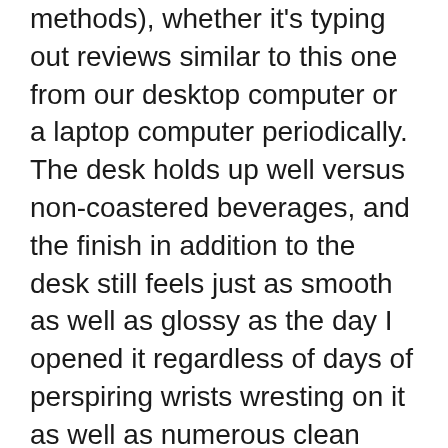methods), whether it's typing out reviews similar to this one from our desktop computer or a laptop computer periodically. The desk holds up well versus non-coastered beverages, and the finish in addition to the desk still feels just as smooth as well as glossy as the day I opened it regardless of days of perspiring wrists wresting on it as well as numerous clean downs with a rag.
Though I never deliberately try to damage any desks also hard, throughout some lighter tests (tossing a set of keys onto it from a distance, for instance), it still stood up without a lot of noticeable indicators of damage.
When I gauged the noise output of the desk